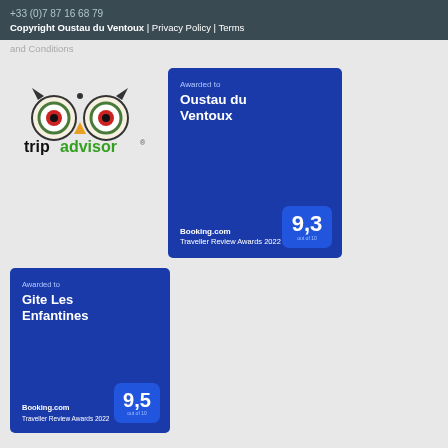+33 (0)7 87 16 68 79
Copyright Oustau du Ventoux | Privacy Policy | Terms
and Conditions
[Figure (logo): TripAdvisor logo with owl icon and 'tripadvisor' text in black and green]
[Figure (infographic): Booking.com Traveller Review Awards 2022 badge. Awarded to Oustau du Ventoux. Score: 9,3 out of 10.]
[Figure (infographic): Booking.com Traveller Review Awards 2022 badge. Awarded to Gite Les Enfantines. Score: 9,5 out of 10.]